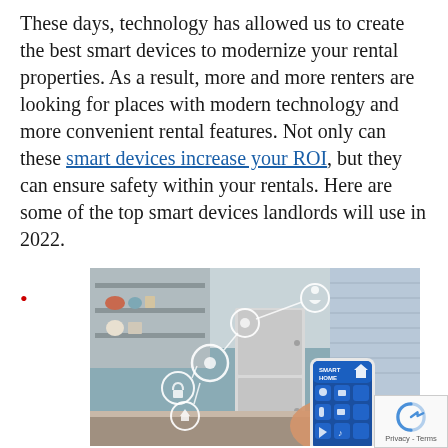These days, technology has allowed us to create the best smart devices to modernize your rental properties. As a result, more and more renters are looking for places with modern technology and more convenient rental features. Not only can these smart devices increase your ROI, but they can ensure safety within your rentals. Here are some of the top smart devices landlords will use in 2022.
•
[Figure (photo): A smart home photo showing a kitchen background with a hand holding a smartphone displaying a Smart Home app interface, overlaid with connected smart device icons in white circles.]